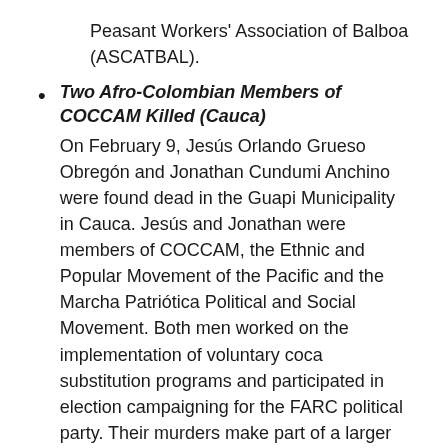Peasant Workers' Association of Balboa (ASCATBAL).
Two Afro-Colombian Members of COCCAM Killed (Cauca)
On February 9, Jesús Orlando Grueso Obregón and Jonathan Cundumi Anchino were found dead in the Guapi Municipality in Cauca. Jesús and Jonathan were members of COCCAM, the Ethnic and Popular Movement of the Pacific and the Marcha Patriótica Political and Social Movement. Both men worked on the implementation of voluntary coca substitution programs and participated in election campaigning for the FARC political party. Their murders make part of a larger pattern of political violence on the eve of a national election season.